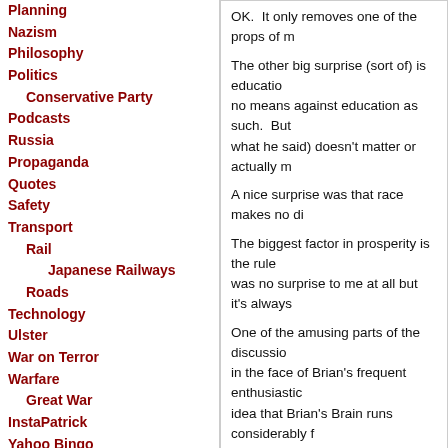Planning
Nazism
Philosophy
Politics
Conservative Party
Podcasts
Russia
Propaganda
Quotes
Safety
Transport
Rail
Japanese Railways
Roads
Technology
Ulster
War on Terror
Warfare
Great War
InstaPatrick
Yahoo Bingo
FEEDS
Atom
RSS 1.0
RSS 2.0
Subscribe with Bloglines
What's all this?
SEARCH
OK. It only removes one of the props of m...
The other big surprise (sort of) is educatio... no means against education as such. But what he said) doesn't matter or actually m...
A nice surprise was that race makes no di...
The biggest factor in prosperity is the rule ... was no surprise to me at all but it's always...
One of the amusing parts of the discussio... in the face of Brian's frequent enthusiastic... idea that Brian's Brain runs considerably f... enough) but it can be quite disconcerting a...
Update Oh crap, I've spent Louw wrong th...
Permalink • Feedback (0) • Economics • Third W...
When I linked to a set of aerial photos of ... to indicate that things were going right for ... right.
Permalink • Feedback (0) • Third World